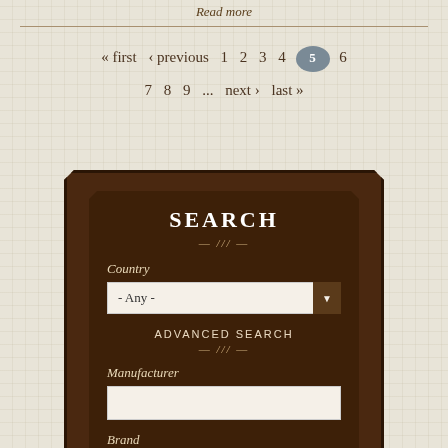Read more
« first  ‹ previous  1  2  3  4  5  6
7  8  9  ...  next ›  last »
SEARCH
Country
- Any -
ADVANCED SEARCH
Manufacturer
Brand
Description